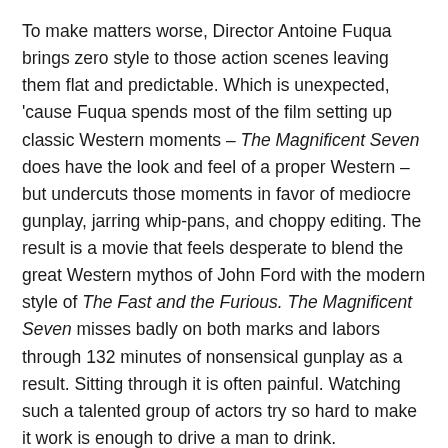To make matters worse, Director Antoine Fuqua brings zero style to those action scenes leaving them flat and predictable. Which is unexpected, 'cause Fuqua spends most of the film setting up classic Western moments – The Magnificent Seven does have the look and feel of a proper Western – but undercuts those moments in favor of mediocre gunplay, jarring whip-pans, and choppy editing. The result is a movie that feels desperate to blend the great Western mythos of John Ford with the modern style of The Fast and the Furious. The Magnificent Seven misses badly on both marks and labors through 132 minutes of nonsensical gunplay as a result. Sitting through it is often painful. Watching such a talented group of actors try so hard to make it work is enough to drive a man to drink.